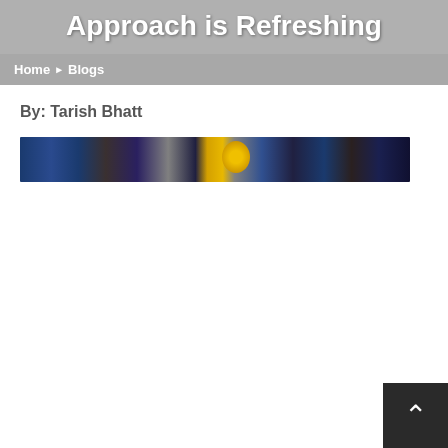Approach is Refreshing
Home ▶ Blogs
By: Tarish Bhatt
[Figure (photo): A wide panoramic sports photo showing a crowd in the background with a yellow ball or helmet visible in the center foreground against a dark playing field.]